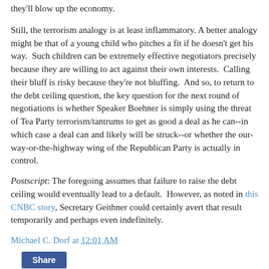they'll blow up the economy.
Still, the terrorism analogy is at least inflammatory. A better analogy might be that of a young child who pitches a fit if he doesn't get his way.  Such children can be extremely effective negotiators precisely because they are willing to act against their own interests.  Calling their bluff is risky because they're not bluffing.  And so, to return to the debt ceiling question, the key question for the next round of negotiations is whether Speaker Boehner is simply using the threat of Tea Party terrorism/tantrums to get as good a deal as he can--in which case a deal can and likely will be struck--or whether the our-way-or-the-highway wing of the Republican Party is actually in control.
Postscript: The foregoing assumes that failure to raise the debt ceiling would eventually lead to a default.  However, as noted in this CNBC story, Secretary Geithner could certainly avert that result temporarily and perhaps even indefinitely.
Michael C. Dorf at 12:01 AM